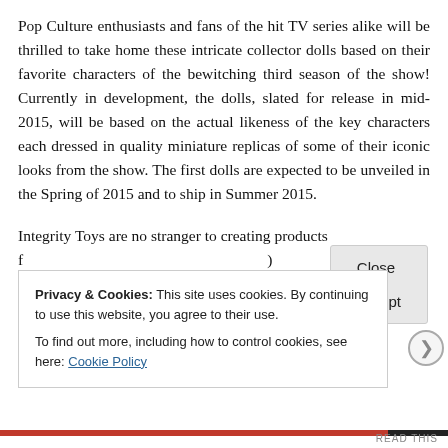Pop Culture enthusiasts and fans of the hit TV series alike will be thrilled to take home these intricate collector dolls based on their favorite characters of the bewitching third season of the show! Currently in development, the dolls, slated for release in mid-2015, will be based on the actual likeness of the key characters each dressed in quality miniature replicas of some of their iconic looks from the show. The first dolls are expected to be unveiled in the Spring of 2015 and to ship in Summer 2015.
Integrity Toys are no stranger to creating products f... a... [partially obscured by cookie overlay]
Privacy & Cookies: This site uses cookies. By continuing to use this website, you agree to their use. To find out more, including how to control cookies, see here: Cookie Policy
Close and accept